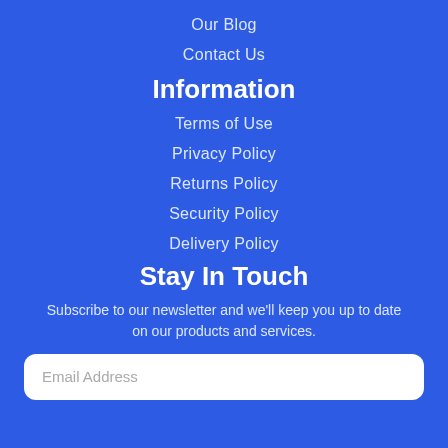Our Blog
Contact Us
Information
Terms of Use
Privacy Policy
Returns Policy
Security Policy
Delivery Policy
Stay In Touch
Subscribe to our newsletter and we'll keep you up to date on our products and services.
Email Address